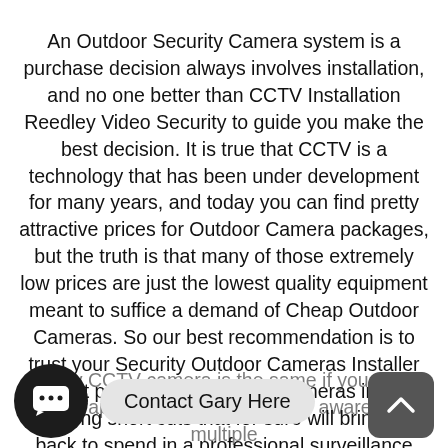An Outdoor Security Camera system is a purchase decision always involves installation, and no one better than CCTV Installation Reedley Video Security to guide you make the best decision. It is true that CCTV is a technology that has been under development for many years, and today you can find pretty attractive prices for Outdoor Camera packages, but the truth is that many of those extremely low prices are just the lowest quality equipment meant to suffice a demand of Cheap Outdoor Cameras. So our best recommendation is to trust your Security Outdoor Cameras Installer and get professional Outdoor cameras instead of taking short cuts that for sure will bring you back to spend in a professional surveillance system.
[Figure (other): Chat button (circular dark button with speech bubble icon showing ellipsis), 'Contact Gary Here' pill button, and scroll-to-top arrow button overlaid at the bottom of the page]
…every CCTV camera is the same if you were a photographer could've been more aware of the multiple